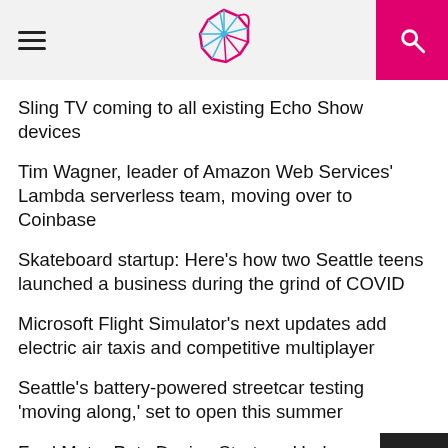GeekWire header with hamburger menu, logo, and search button
Sling TV coming to all existing Echo Show devices
Tim Wagner, leader of Amazon Web Services' Lambda serverless team, moving over to Coinbase
Skateboard startup: Here's how two Seattle teens launched a business during the grind of COVID
Microsoft Flight Simulator's next updates add electric air taxis and competitive multiplayer
Seattle's battery-powered streetcar testing 'moving along,' set to open this summer
Ford Motor Puts Design Strategy Under the HoloLens